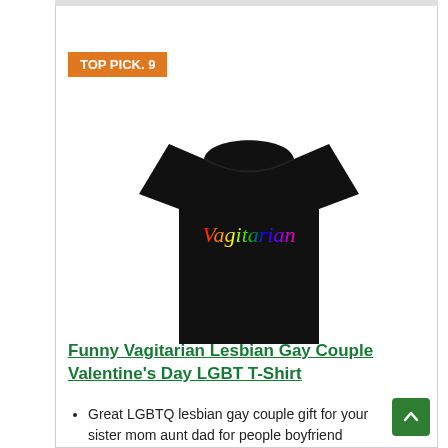TOP PICK. 9
[Figure (photo): Black t-shirt with rainbow gradient text reading 'Vagitarian' with decorative lines above and below the text]
Funny Vagitarian Lesbian Gay Couple Valentine's Day LGBT T-Shirt
Great LGBTQ lesbian gay couple gift for your sister mom aunt dad for people boyfriend girlfriend